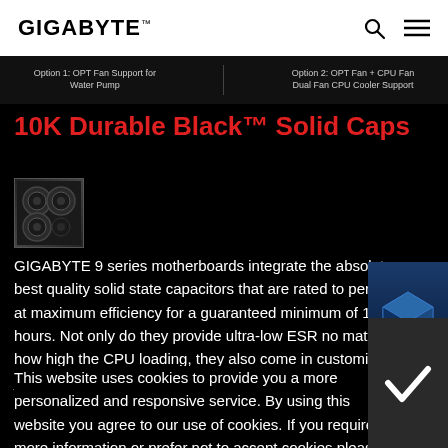GIGABYTE
Option 1: OPT Fan Support for Water Pump   Option 2: OPT Fan + CPU Fan Dual Fan CPU Cooler Support
10K Durable Black™ Solid Caps
[Figure (photo): Close-up photo of black solid state capacitors on a motherboard]
GIGABYTE 9 series motherboards integrate the absolute best quality solid state capacitors that are rated to perform at maximum efficiency for a guaranteed minimum of 10K hours. Not only do they provide ultra-low ESR no matter how high the CPU loading, they also come in customized jet black from Nippon Chemi-Con and Nichicon.
[Figure (illustration): 3D Industry promotional banner on the right side]
This website uses cookies to provide you a more personalized and responsive service. By using this website you agree to our use of cookies. If you require more information or prefer not to accept cookies please visit our Privacy Policy.
[Figure (illustration): Checkmark icon overlay for cookie consent]